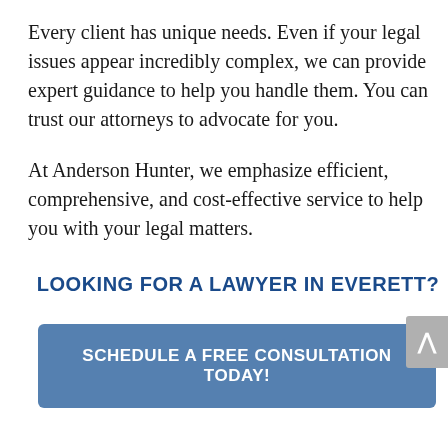Every client has unique needs. Even if your legal issues appear incredibly complex, we can provide expert guidance to help you handle them. You can trust our attorneys to advocate for you.
At Anderson Hunter, we emphasize efficient, comprehensive, and cost-effective service to help you with your legal matters.
LOOKING FOR A LAWYER IN EVERETT?
SCHEDULE A FREE CONSULTATION TODAY!